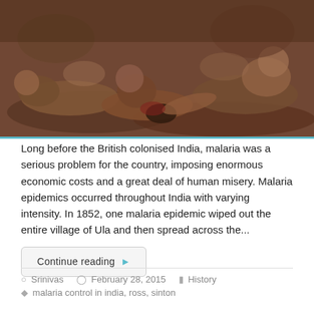[Figure (illustration): A dark oil painting or illustration depicting multiple human figures lying on the ground in distress, suggesting suffering or death from disease, rendered in earth tones of brown and red.]
Long before the British colonised India, malaria was a serious problem for the country, imposing enormous economic costs and a great deal of human misery. Malaria epidemics occurred throughout India with varying intensity. In 1852, one malaria epidemic wiped out the entire village of Ula and then spread across the...
Continue reading ▶
Srinivas   February 28, 2015   History
malaria control in india, ross, sinton